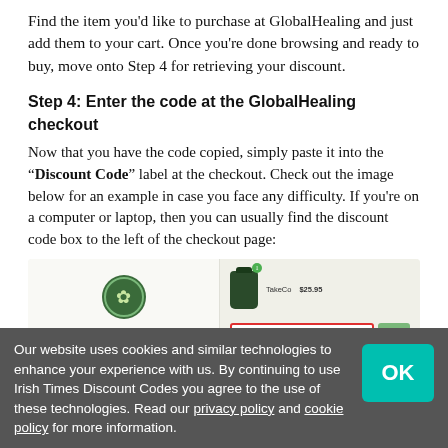Find the item you’d like to purchase at GlobalHealing and just add them to your cart. Once you’re done browsing and ready to buy, move onto Step 4 for retrieving your discount.
Step 4: Enter the code at the GlobalHealing checkout
Now that you have the code copied, simply paste it into the “Discount Code” label at the checkout. Check out the image below for an example in case you face any difficulty. If you’re on a computer or laptop, then you can usually find the discount code box to the left of the checkout page:
[Figure (screenshot): Screenshot of GlobalHealing checkout page showing shop payment buttons on left and a discount code input field highlighted with a red border on the right side]
Our website uses cookies and similar technologies to enhance your experience with us. By continuing to use Irish Times Discount Codes you agree to the use of these technologies. Read our privacy policy and cookie policy for more information.